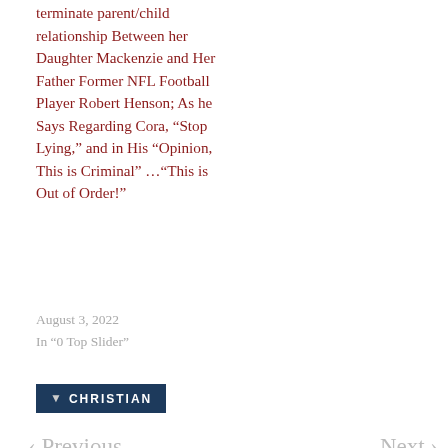terminate parent/child relationship Between her Daughter Mackenzie and Her Father Former NFL Football Player Robert Henson; As he Says Regarding Cora, “Stop Lying,” and in His “Opinion, This is Criminal” …“This is Out of Order!”
August 3, 2022
In “0 Top Slider”
CHRISTIAN
‹ Previous
Next ›
Search